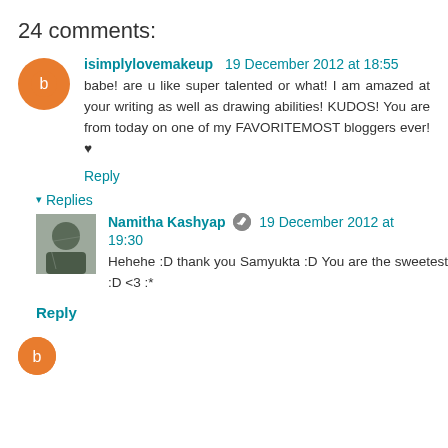24 comments:
isimplylovemakeup 19 December 2012 at 18:55
babe! are u like super talented or what! I am amazed at your writing as well as drawing abilities! KUDOS! You are from today on one of my FAVORITEMOST bloggers ever! ♥
Reply
▾ Replies
Namitha Kashyap 19 December 2012 at 19:30
Hehehe :D thank you Samyukta :D You are the sweetest :D <3 :*
Reply